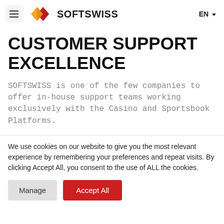≡ SOFTSWISS EN
CUSTOMER SUPPORT EXCELLENCE
SOFTSWISS is one of the few companies to offer in-house support teams working exclusively with the Casino and Sportsbook Platforms.
We use cookies on our website to give you the most relevant experience by remembering your preferences and repeat visits. By clicking Accept All, you consent to the use of ALL the cookies.
Manage | Accept All